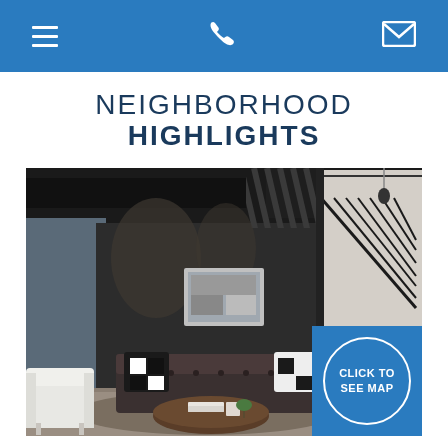Navigation bar with menu, phone, and email icons
NEIGHBORHOOD HIGHLIGHTS
[Figure (photo): Interior photo of a modern apartment lobby or lounge with dark walls, tufted leather sofa, white armchair, black and white decorative pillows, industrial staircase with metal railings, pendant lighting, and a coffee table with books.]
CLICK TO SEE MAP